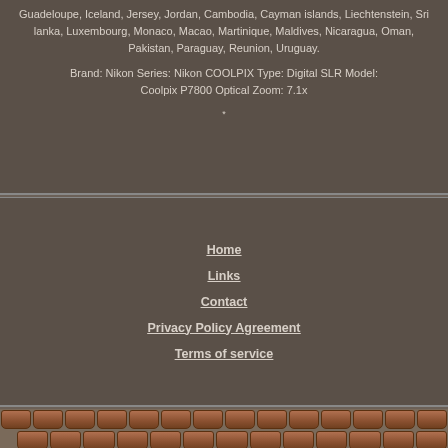Guadeloupe, Iceland, Jersey, Jordan, Cambodia, Cayman islands, Liechtenstein, Sri lanka, Luxembourg, Monaco, Macao, Martinique, Maldives, Nicaragua, Oman, Pakistan, Paraguay, Reunion, Uruguay.
Brand: Nikon Series: Nikon COOLPIX Type: Digital SLR Model: Coolpix P7800 Optical Zoom: 7.1x
Home
Links
Contact
Privacy Policy Agreement
Terms of service